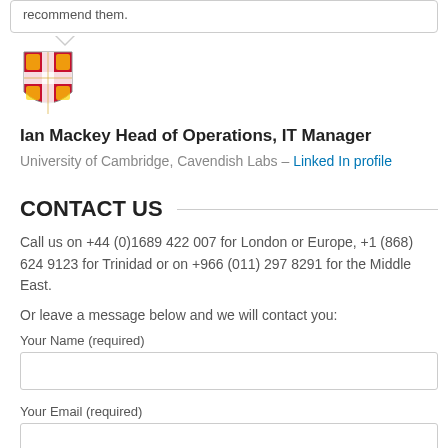recommend them.
[Figure (logo): University of Cambridge shield/crest logo in red, gold, and white]
Ian Mackey Head of Operations, IT Manager
University of Cambridge, Cavendish Labs – LinkedIn profile
CONTACT US
Call us on +44 (0)1689 422 007 for London or Europe, +1 (868) 624 9123 for Trinidad or on +966 (011) 297 8291 for the Middle East.
Or leave a message below and we will contact you:
Your Name (required)
Your Email (required)